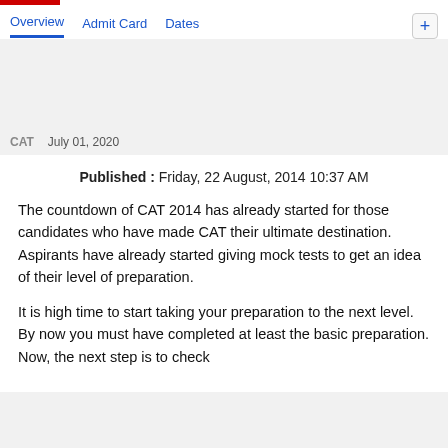Overview  Admit Card  Dates
CAT  July 01, 2020
Published : Friday, 22 August, 2014 10:37 AM
The countdown of CAT 2014 has already started for those candidates who have made CAT their ultimate destination. Aspirants have already started giving mock tests to get an idea of their level of preparation.
It is high time to start taking your preparation to the next level. By now you must have completed at least the basic preparation. Now, the next step is to check